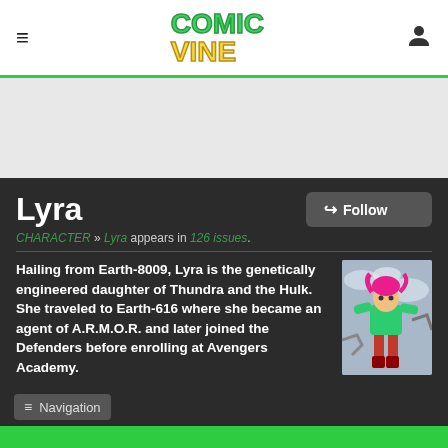Comic Vine
[Figure (illustration): Comic Vine logo with 'COMIC' in green and 'VINE' in yellow stylized text]
Lyra
CHARACTER » Lyra appears in 126 issues.
[Figure (illustration): Comic book illustration of Lyra, a female character with pink hair in a superhero costume, posed dynamically against a cloudy sky background]
Hailing from Earth-8009, Lyra is the genetically engineered daughter of Thundra and the Hulk. She traveled to Earth-616 where she became an agent of A.R.M.O.R. and later joined the Defenders before enrolling at Avengers Academy.
Navigation